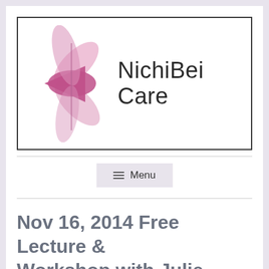[Figure (logo): NichiBei Care logo with pink flower/star shape and text 'NichiBei Care']
≡ Menu
Nov 16, 2014 Free Lecture & Workshop with Julie